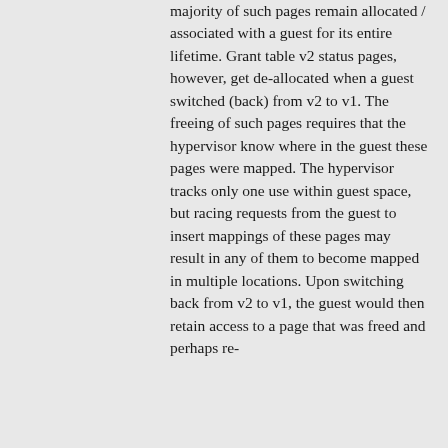majority of such pages remain allocated / associated with a guest for its entire lifetime. Grant table v2 status pages, however, get de-allocated when a guest switched (back) from v2 to v1. The freeing of such pages requires that the hypervisor know where in the guest these pages were mapped. The hypervisor tracks only one use within guest space, but racing requests from the guest to insert mappings of these pages may result in any of them to become mapped in multiple locations. Upon switching back from v2 to v1, the guest would then retain access to a page that was freed and perhaps re-used for the purposes. This b...